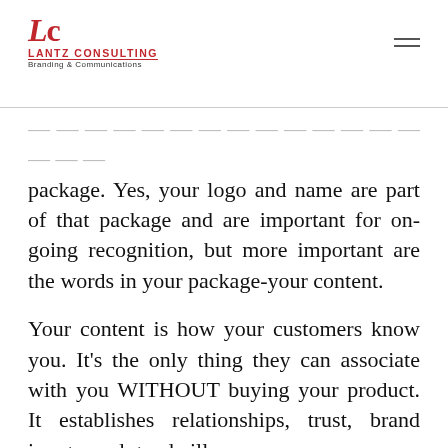Lantz Consulting — Branding & Communications
package. Yes, your logo and name are part of that package and are important for on-going recognition, but more important are the words in your package-your content.
Your content is how your customers know you. It's the only thing they can associate with you WITHOUT buying your product. It establishes relationships, trust, brand image, and goodwill.
The first contact your potentially loyal customer base will make with your product is when they read about its pros and cons, contemplating whether to forego all the other similar products in the market in order to have a taste of yours.